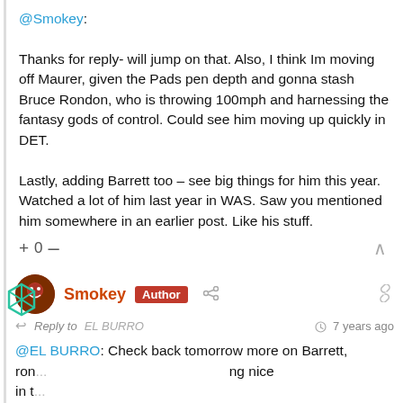@Smokey: Thanks for reply- will jump on that. Also, I think Im moving off Maurer, given the Pads pen depth and gonna stash Bruce Rondon, who is throwing 100mph and harnessing the fantasy gods of control. Could see him moving up quickly in DET.

Lastly, adding Barrett too – see big things for him this year. Watched a lot of him last year in WAS. Saw you mentioned him somewhere in an earlier post. Like his stuff.
+ 0 —
Smokey Author
Reply to EL BURRO  7 years ago
@EL BURRO: Check back tomorrow more on Barrett, ron... ng nice in t...
[Figure (screenshot): HEADERBIDDING.COM advertisement banner with text 'Your source for all things programmatic advertising.']